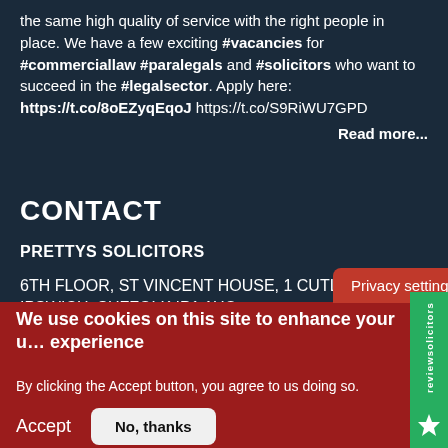the same high quality of service with the right people in place. We have a few exciting #vacancies for #commerciallaw #paralegals and #solicitors who want to succeed in the #legalsector. Apply here: https://t.co/8oEZyqEqoJ https://t.co/S9RiWU7GPD
Read more...
CONTACT
PRETTYS SOLICITORS
6TH FLOOR, ST VINCENT HOUSE, 1 CUTLER STREET, IPSWICH, SUFFOLK IP1 1UQ
T: 01473 232121
Privacy settings
We use cookies on this site to enhance your user experience
By clicking the Accept button, you agree to us doing so.
Accept
No, thanks
[Figure (logo): reviewsolicitors green side tab with logo]